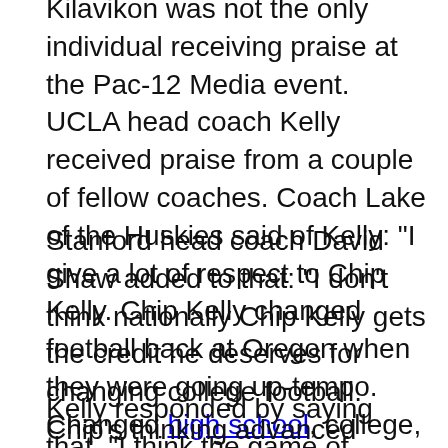Kilavikon was not the only individual receiving praise at the Pac-12 Media event. UCLA head coach Kelly received praise from a couple of fellow coaches. Coach Lake of the Huskies said of Kelly: "I give a lot of respect to Chip Kelly. Chip Kelly changed football back at Oregon when they were going up-tempo. Changed high school, college, and the NFL football. Now you see a lot of teams still doing a little bit of those things he was doing back then."
Stanford head coach David Shaw added to that: "I don't think nationally Chip Kelly gets the credit he deserves for changing college football. Chip's thinking advanced college football by at least a decade for what he did at Oregon. You've seen other people have different offenses, but really following Chip's lead there. I think he changed college football. I've always respected him for that."
Kelly responded by saying that, "I think the game of football is cyclical. There's ebbs and flows to